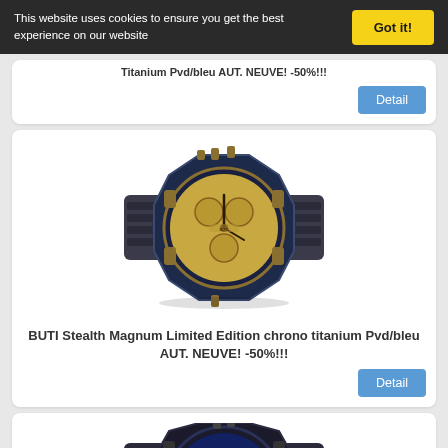This website uses cookies to ensure you get the best experience on our website
[Figure (illustration): Cookie consent banner with yellow 'Got it!' button on dark background]
Titanium Pvd/bleu AUT. NEUVE! -50%!!!
[Figure (photo): BUTI Stealth Magnum Limited Edition chrono titanium Pvd/bleu watch with gold dial on dark blue/black case and bracelet]
BUTI Stealth Magnum Limited Edition chrono titanium Pvd/bleu AUT. NEUVE! -50%!!!
[Figure (photo): Second BUTI Stealth Magnum watch with blue dial, red and green subdials, on dark blue/black case and bracelet (partially shown)]